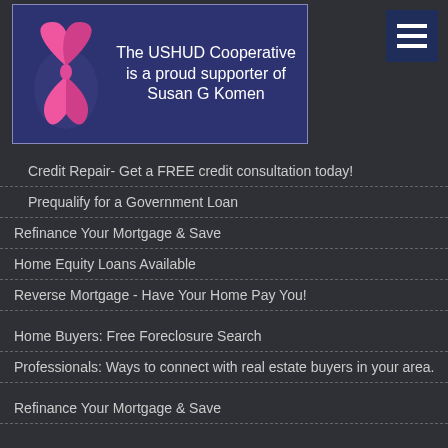[Figure (illustration): USHUD Cooperative banner with pink breast cancer awareness ribbon and text 'The USHUD Cooperative is a proud supporter of Susan G Komen']
Credit Repair- Get a FREE credit consultation today!
Prequalify for a Government Loan
Refinance Your Mortgage & Save
Home Equity Loans Available
Reverse Mortgage - Have Your Home Pay You!
Home Buyers: Free Foreclosure Search
Professionals: Ways to connect with real estate buyers in your area.
Refinance Your Mortgage & Save